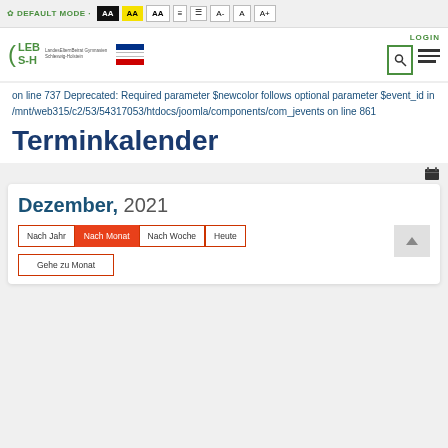DEFAULT MODE · AA AA AA [icons] A- A A+
[Figure (logo): LEB S-H LandesElternBeirat Gymnasien Schleswig-Holstein logo with Schleswig-Holstein flag]
LOGIN
on line 737 Deprecated: Required parameter $newcolor follows optional parameter $event_id in /mnt/web315/c2/53/54317053/htdocs/joomla/components/com_jevents on line 861
Terminkalender
Dezember, 2021
Nach Jahr  Nach Monat  Nach Woche  Heute
Gehe zu Monat